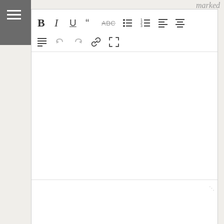marked
[Figure (screenshot): Rich text editor toolbar with formatting buttons: Bold (B), Italic (I), Underline (U), Blockquote, Strikethrough (ABC), Unordered list, Ordered list, Align left, Align center, Align justify, Undo, Redo, Link, Fullscreen]
Name *
Email *
Website